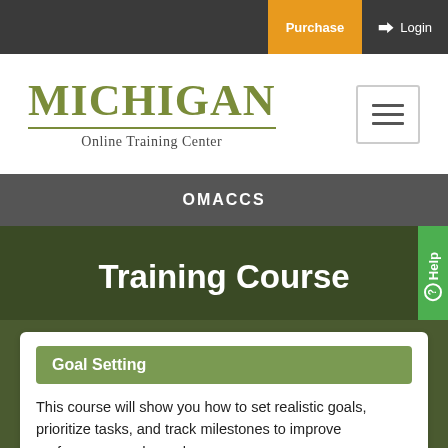Purchase   Login
[Figure (logo): Michigan Online Training Center logo with olive/green text and horizontal rule]
OMACCS
Training Course
Goal Setting
This course will show you how to set realistic goals, prioritize tasks, and track milestones to improve performance and morale.